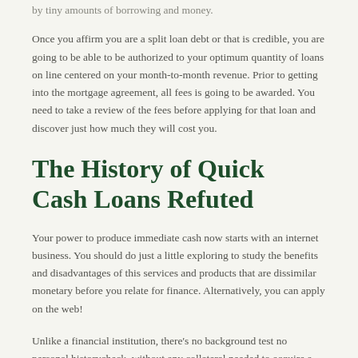by tiny amounts of borrowing and money.
Once you affirm you are a split loan debt or that is credible, you are going to be able to be authorized to your optimum quantity of loans on line centered on your month-to-month revenue. Prior to getting into the mortgage agreement, all fees is going to be awarded. You need to take a review of the fees before applying for that loan and discover just how much they will cost you.
The History of Quick Cash Loans Refuted
Your power to produce immediate cash now starts with an internet business. You should do just a little exploring to study the benefits and disadvantages of this services and products that are dissimilar monetary before you relate for finance. Alternatively, you can apply on the web!
Unlike a financial institution, there's no background test no personal historycheck, without any collateral needed to acquire a loan that is tiny. Lousy credit is going to realize your credit applications. Inch way of obtain a financial loan quickly will be to receive a bank card without credit checks.